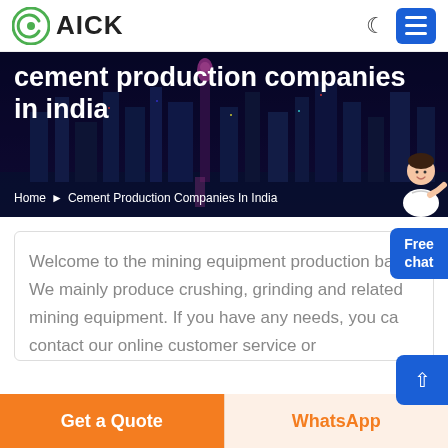[Figure (logo): AICK logo with green spiral C icon and bold AICK text]
cement production companies in india
Home > Cement Production Companies In India
Free chat
Welcome to the mining equipment production base. We mainly produce crushing, grinding and related mining equipment. If you have any needs, you can contact our online customer service or
Get a Quote
WhatsApp